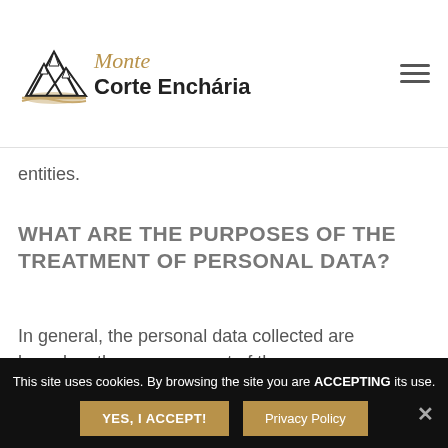Monte Corte Enchária
entities.
WHAT ARE THE PURPOSES OF THE TREATMENT OF PERSONAL DATA?
In general, the personal data collected are based on the management of the
This site uses cookies. By browsing the site you are ACCEPTING its use.